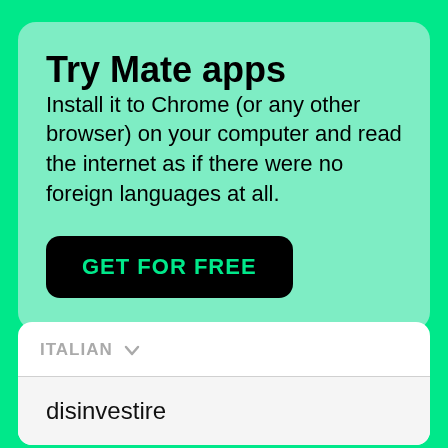Try Mate apps
Install it to Chrome (or any other browser) on your computer and read the internet as if there were no foreign languages at all.
GET FOR FREE
ITALIAN
disinvestire